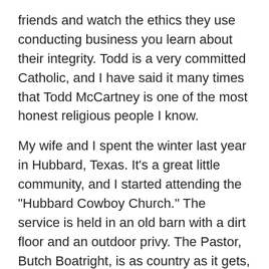friends and watch the ethics they use conducting business you learn about their integrity. Todd is a very committed Catholic, and I have said it many times that Todd McCartney is one of the most honest religious people I know.
My wife and I spent the winter last year in Hubbard, Texas. It’s a great little community, and I started attending the “Hubbard Cowboy Church.” The service is held in an old barn with a dirt floor and an outdoor privy. The Pastor, Butch Boatright, is as country as it gets, but really knows how to get the message out to us country folk.
As you may know I like good music. Billy Joe Shaver sings a song called “If you don’t love Jesus, you can go to hell.” I read his book and it talked about his feelings on religion.